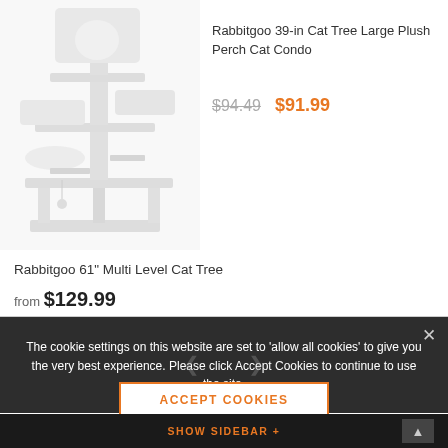[Figure (photo): Cat tree product image - a tall multi-level cat tree/condo in white/grey color, shown against white background]
Rabbitgoo 39-in Cat Tree Large Plush Perch Cat Condo
$94.49  $91.99
Rabbitgoo 61" Multi Level Cat Tree
from $129.99
The cookie settings on this website are set to 'allow all cookies' to give you the very best experience. Please click Accept Cookies to continue to use the site.
ACCEPT COOKIES
SHOW SIDEBAR +